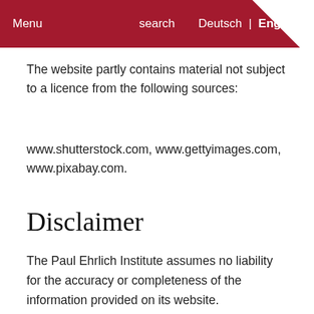Menu  search  Deutsch | English
The website partly contains material not subject to a licence from the following sources:
www.shutterstock.com, www.gettyimages.com, www.pixabay.com.
Disclaimer
The Paul Ehrlich Institute assumes no liability for the accuracy or completeness of the information provided on its website.